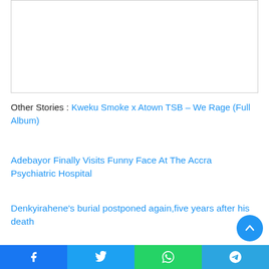[Figure (other): Empty white image placeholder with light gray border]
Other Stories : Kweku Smoke x Atown TSB – We Rage (Full Album)
Adebayor Finally Visits Funny Face At The Accra Psychiatric Hospital
Denkyirahene's burial postponed again,five years after his death
Facebook | Twitter | WhatsApp | Telegram share buttons